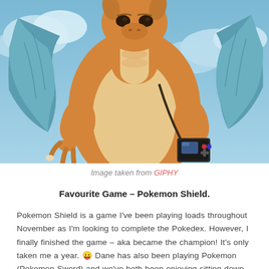[Figure (illustration): Animated illustration of Dragonite (a large orange dragon Pokémon) holding a Game Boy / handheld device, with blue sky and clouds in background. The Pokémon appears to be playing a video game.]
Image taken from GIPHY
Favourite Game – Pokemon Shield.
Pokemon Shield is a game I've been playing loads throughout November as I'm looking to complete the Pokedex. However, I finally finished the game – aka became the champion! It's only taken me a year. 😛 Dane has also been playing Pokemon (Pokemon Sword) and we've both been enjoying sitting down over an evening/weekend and playing it together. Currently my main Pokedex is at 372 caught and Isle of Armor Pokedex is